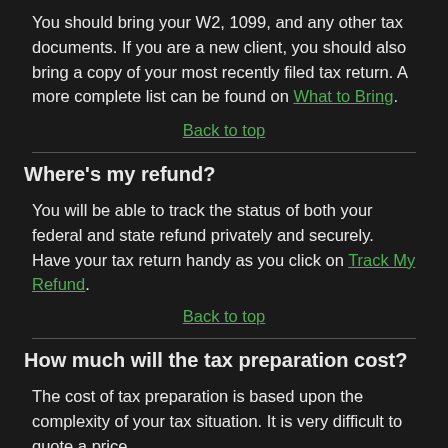You should bring your W2, 1099, and any other tax documents. If you are a new client, you should also bring a copy of your most recently filed tax return. A more complete list can be found on What to Bring.
Back to top
Where's my refund?
You will be able to track the status of both your federal and state refund privately and securely. Have your tax return handy as you click on Track My Refund.
Back to top
How much will the tax preparation cost?
The cost of tax preparation is based upon the complexity of your tax situation. It is very difficult to quote a price...